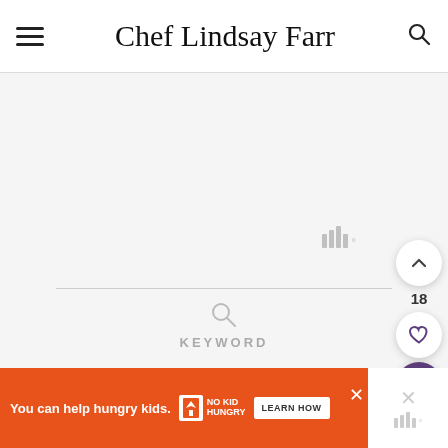Chef Lindsay Farr
[Figure (screenshot): Main content area with white/light gray background, watermark icon (four bars with degree symbol) at lower right, and a search section at the bottom with a horizontal divider, search icon, and KEYWORD label]
KEYWORD
[Figure (infographic): Three floating action buttons on the right: up chevron circle button, number 18, heart circle button, and purple search circle button]
[Figure (infographic): Advertisement bar at the bottom: orange background with 'You can help hungry kids.' text, No Kid Hungry logo, LEARN HOW button, close X, and right panel with X icon and watermark bars]